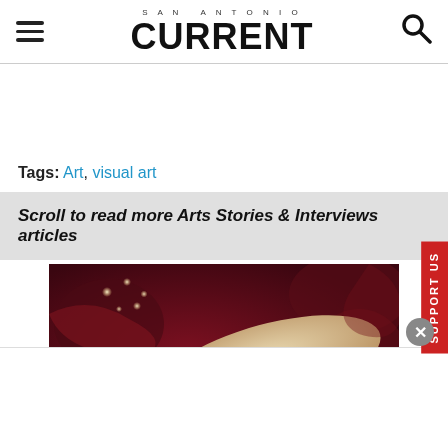SAN ANTONIO CURRENT
Tags: Art, visual art
Scroll to read more Arts Stories & Interviews articles
[Figure (photo): Close-up medical illustration or artwork showing internal body tissue, reddish organic forms with glowing points, and a pale elongated form against a dark background]
SUPPORT US